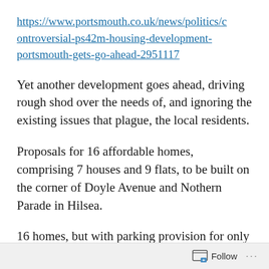https://www.portsmouth.co.uk/news/politics/controversial-ps42m-housing-development-portsmouth-gets-go-ahead-2951117
Yet another development goes ahead, driving rough shod over the needs of, and ignoring the existing issues that plague, the local residents.
Proposals for 16 affordable homes, comprising 7 houses and 9 flats, to be built on the corner of Doyle Avenue and Nothern Parade in Hilsea.
16 homes, but with parking provision for only 12 cars. According to the councils own standards the site should provide 20 parking
Follow